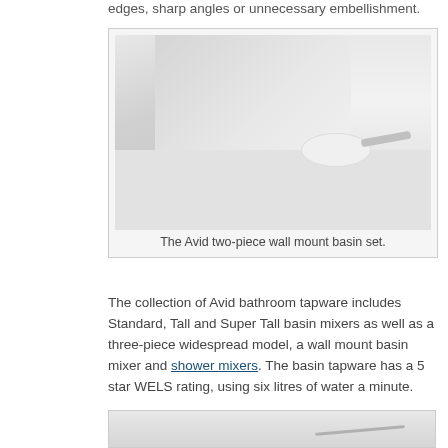edges, sharp angles or unnecessary embellishment.
[Figure (photo): The Avid two-piece wall mount basin set showing a white floating bench with round basin and wall-mounted tap against a white background.]
The Avid two-piece wall mount basin set.
The collection of Avid bathroom tapware includes Standard, Tall and Super Tall basin mixers as well as a three-piece widespread model, a wall mount basin mixer and shower mixers. The basin tapware has a 5 star WELS rating, using six litres of water a minute.
[Figure (photo): Partial view of a tap or shower mixer product on a light background.]